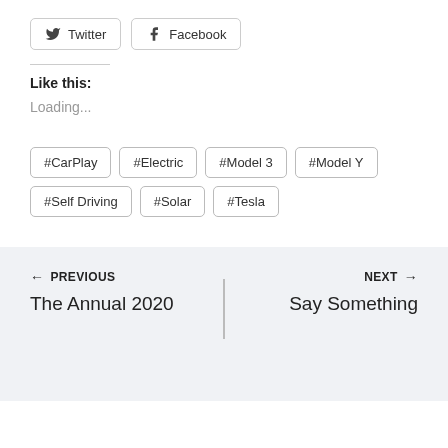[Figure (other): Twitter and Facebook share buttons with icons]
Like this:
Loading...
#CarPlay
#Electric
#Model 3
#Model Y
#Self Driving
#Solar
#Tesla
← PREVIOUS
The Annual 2020
NEXT →
Say Something